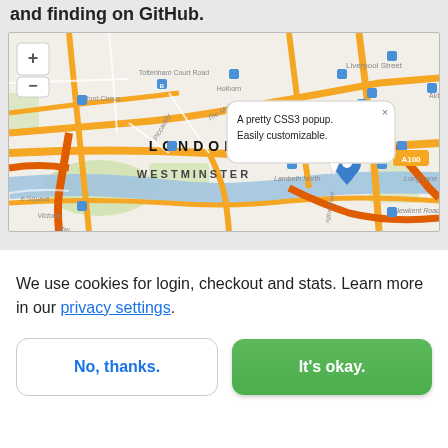and finding on GitHub.
[Figure (map): Interactive street map of London showing districts including City of London, Westminster, with major roads highlighted in orange, a blue location marker pin, and a CSS3 popup balloon saying 'A pretty CSS3 popup. Easily customizable.' Includes zoom controls (+/-).]
We use cookies for login, checkout and stats. Learn more in our privacy settings.
No, thanks.
It's okay.